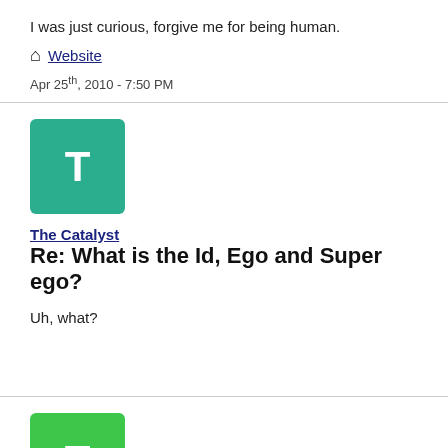I was just curious, forgive me for being human.
Website
Apr 25th, 2010 - 7:50 PM
The Catalyst
Re: What is the Id, Ego and Super ego?
Uh, what?
Toby